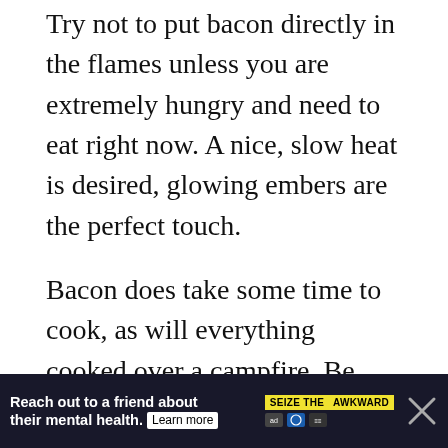Try not to put bacon directly in the flames unless you are extremely hungry and need to eat right now. A nice, slow heat is desired, glowing embers are the perfect touch.
Bacon does take some time to cook, as will everything cooked over a campfire. Be prepared with a long stick and perhaps with some moments of smoke in your eyes. It’s all part of the fun.
If you’d like to sit back further from the fire, grab a branch that has a “v” in it and poke it in...
[Figure (infographic): Dark advertisement banner: 'Reach out to a friend about their mental health. Learn more' with SEIZE THE AWKWARD badge and media logos. An X close button on the right.]